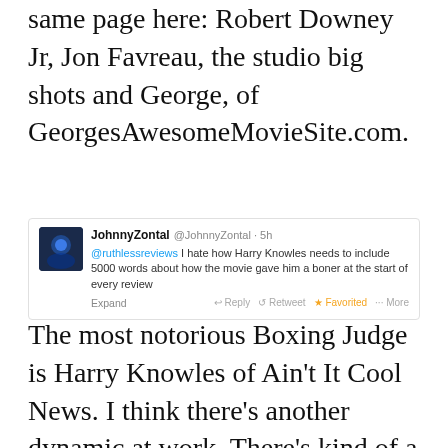same page here: Robert Downey Jr, Jon Favreau, the studio big shots and George, of GeorgesAwesomeMovieSite.com.
[Figure (screenshot): Tweet from @JohnnyZontal saying '@ruthlessreviews I hate how Harry Knowles needs to include 5000 words about how the movie gave him a boner at the start of every review'. Shows avatar, username, handle, time (5h), Expand link, and Favorited action.]
The most notorious Boxing Judge is Harry Knowles of Ain't It Cool News. I think there's another dynamic at work. There's kind of a big play acting/groupthink thing where certain people enjoy the idea of Great Movies that everyone is on the same page about. They so enjoy the role that Jaws or The Godfather